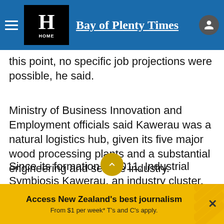Bay of Plenty Times
this point, no specific job projections were possible, he said.
Ministry of Business Innovation and Employment officials said Kawerau was a natural logistics hub, given its five major wood processing plants and a substantial engineering and service industry.
Since its formation in 2011, Industrial Symbiosis Kawerau, an industry cluster, has investigated options to reduce the cost of goods to market by enhancing the supply chain to the port, including a rail extension into the tow new industrial park
Access New Zealand's best journalism From $1 per week* T's and C's apply.